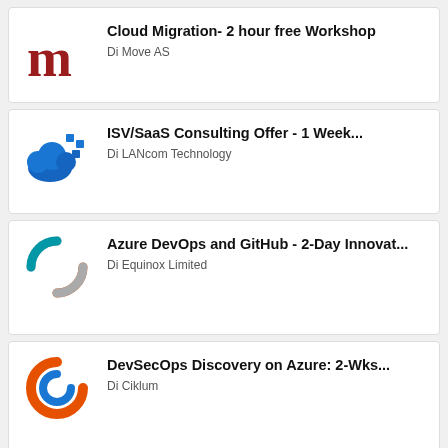[Figure (logo): Dark red stylized letter M logo for Di Move AS]
Cloud Migration- 2 hour free Workshop
Di Move AS
[Figure (logo): Blue cloud with blue square dots logo for LANcom Technology]
ISV/SaaS Consulting Offer - 1 Week...
Di LANcom Technology
[Figure (logo): Circular arrows logo in teal, orange, and gray for Equinox Limited]
Azure DevOps and GitHub - 2-Day Innovat...
Di Equinox Limited
[Figure (logo): Orange and blue C-shape circular logo for Ciklum]
DevSecOps Discovery on Azure: 2-Wks...
Di Ciklum